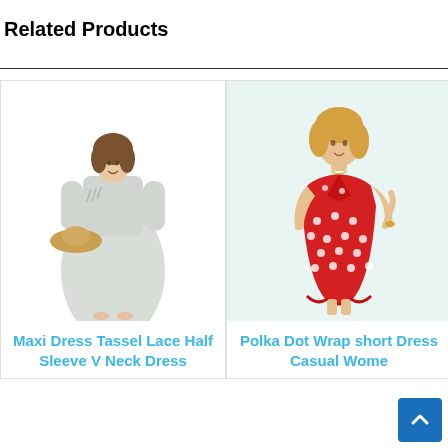Related Products
[Figure (photo): Woman wearing a light grey maxi dress with tassel lace half sleeve v neck, holding a straw hat]
Maxi Dress Tassel Lace Half Sleeve V Neck Dress
[Figure (photo): Woman wearing a red polka dot wrap short casual dress with ruffled hem]
Polka Dot Wrap short Dress Casual Women